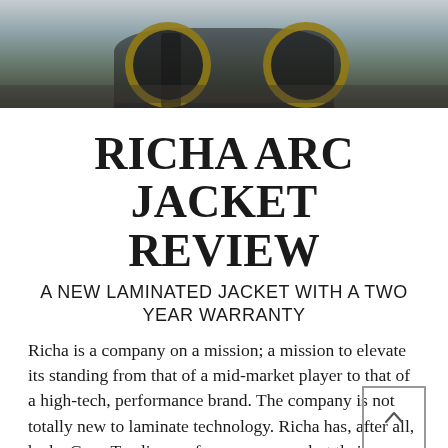[Figure (photo): Photo of a person standing next to a motorcycle with gold wheels on a gravel surface, trees in background]
RICHA ARC JACKET REVIEW
A NEW LAMINATED JACKET WITH A TWO YEAR WARRANTY
Richa is a company on a mission; a mission to elevate its standing from that of a mid-market player to that of a high-tech, performance brand. The company is not totally new to laminate technology. Richa has, after all, had a Gore-Tex licence for many years, but their phenomenal, new Arc jacket stands comparison